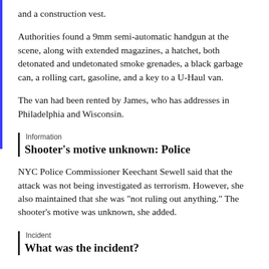and a construction vest.
Authorities found a 9mm semi-automatic handgun at the scene, along with extended magazines, a hatchet, both detonated and undetonated smoke grenades, a black garbage can, a rolling cart, gasoline, and a key to a U-Haul van.
The van had been rented by James, who has addresses in Philadelphia and Wisconsin.
Information
Shooter's motive unknown: Police
NYC Police Commissioner Keechant Sewell said that the attack was not being investigated as terrorism. However, she also maintained that she was "not ruling out anything." The shooter's motive was unknown, she added.
Incident
What was the incident?